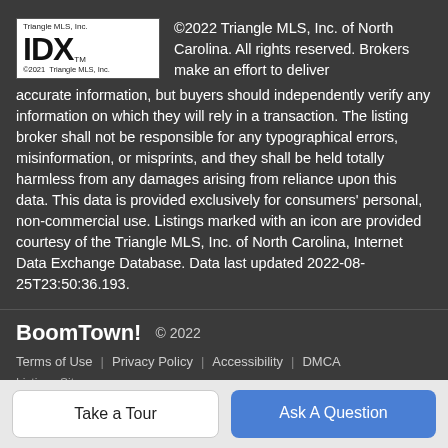[Figure (logo): Triangle MLS, Inc. IDX logo with copyright 2021 Triangle MLS, Inc.]
©2022 Triangle MLS, Inc. of North Carolina. All rights reserved. Brokers make an effort to deliver accurate information, but buyers should independently verify any information on which they will rely in a transaction. The listing broker shall not be responsible for any typographical errors, misinformation, or misprints, and they shall be held totally harmless from any damages arising from reliance upon this data. This data is provided exclusively for consumers' personal, non-commercial use. Listings marked with an icon are provided courtesy of the Triangle MLS, Inc. of North Carolina, Internet Data Exchange Database. Data last updated 2022-08-25T23:50:36.193.
[Figure (logo): BoomTown! logo]
© 2022
Terms of Use | Privacy Policy | Accessibility | DMCA
Listings Sitemap